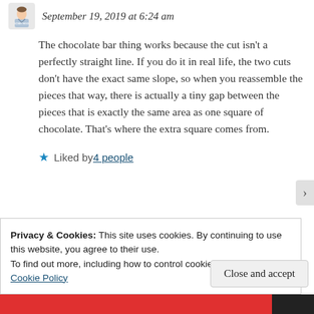September 19, 2019 at 6:24 am
The chocolate bar thing works because the cut isn't a perfectly straight line. If you do it in real life, the two cuts don't have the exact same slope, so when you reassemble the pieces that way, there is actually a tiny gap between the pieces that is exactly the same area as one square of chocolate. That's where the extra square comes from.
★ Liked by 4 people
Privacy & Cookies: This site uses cookies. By continuing to use this website, you agree to their use.
To find out more, including how to control cookies, see here: Cookie Policy